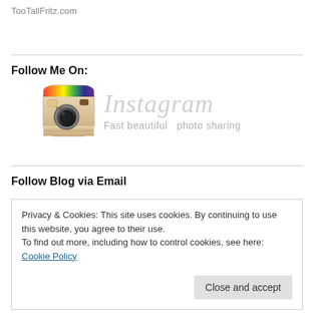TooTallFritz.com
Follow Me On:
[Figure (logo): Instagram logo with camera icon and 'Instagram - Fast beautiful photo sharing' text]
Follow Blog via Email
Privacy & Cookies: This site uses cookies. By continuing to use this website, you agree to their use.
To find out more, including how to control cookies, see here: Cookie Policy